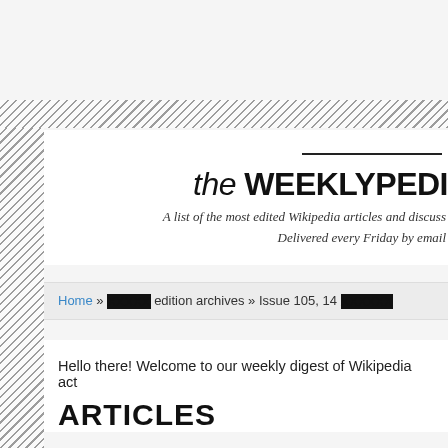the WEEKLYPEDI
A list of the most edited Wikipedia articles and discuss
Delivered every Friday by email
Home » XXXXX edition archives » Issue 105, 14 XXXXXX
Hello there! Welcome to our weekly digest of Wikipedia act
ARTICLES